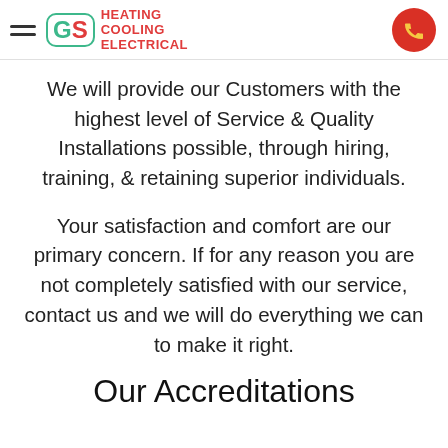GS Heating Cooling Electrical
We will provide our Customers with the highest level of Service & Quality Installations possible, through hiring, training, & retaining superior individuals.
Your satisfaction and comfort are our primary concern. If for any reason you are not completely satisfied with our service, contact us and we will do everything we can to make it right.
Our Accreditations